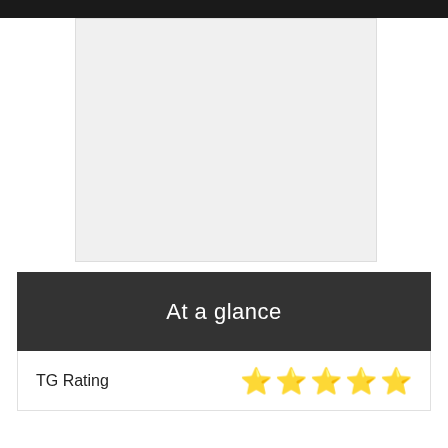[Figure (photo): Large light gray placeholder image area]
At a glance
| TG Rating | ★★★★★ |
| --- | --- |